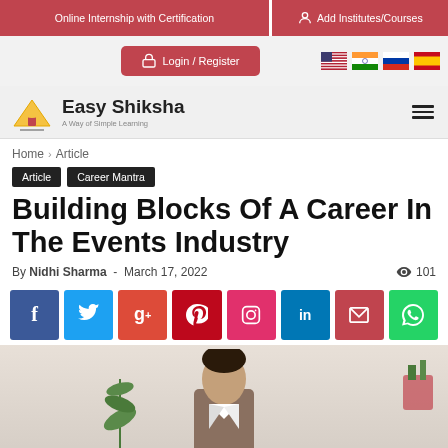Online Internship with Certification | Add Institutes/Courses
[Figure (screenshot): Login/Register button with flag icons (US, India, Russia, Spain)]
[Figure (logo): Easy Shiksha logo with tagline 'A Way of Simple Learning' and hamburger menu]
Home › Article
Article  Career Mantra
Building Blocks Of A Career In The Events Industry
By Nidhi Sharma - March 17, 2022  101
[Figure (infographic): Social media share buttons: Facebook, Twitter, Google+, Pinterest, Instagram, LinkedIn, Email, WhatsApp]
[Figure (photo): Photo of a person with a plant in background]